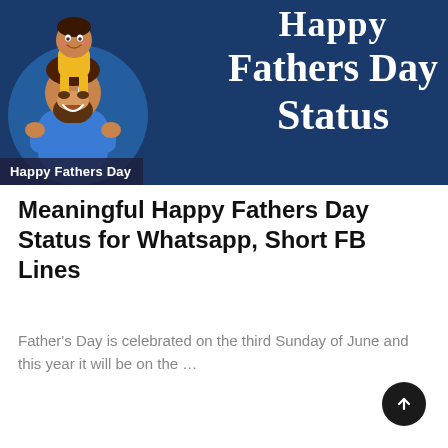[Figure (illustration): Cartoon illustration of a father with a child on his shoulders on a dark blue banner background with text 'Happy Fathers Day Status']
Happy Fathers Day
Meaningful Happy Fathers Day Status for Whatsapp, Short FB Lines
Father's Day is celebrated on the third Sunday of June and this year it will be on the …